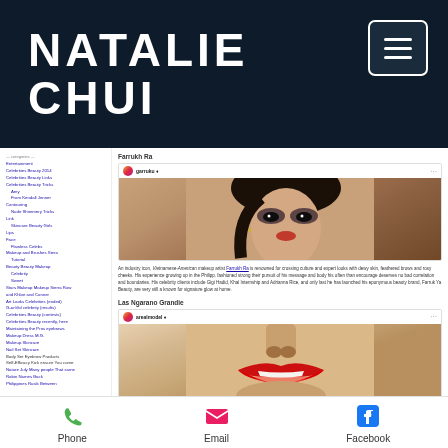NATALIE CHUI
[Figure (screenshot): Webpage screenshot showing a blog/website with Instagram posts featuring makeup artist content, sidebar navigation links, article text about Farrukh Ra, and a section label 'Las Ngarano Grandie']
Phone  Email  Facebook